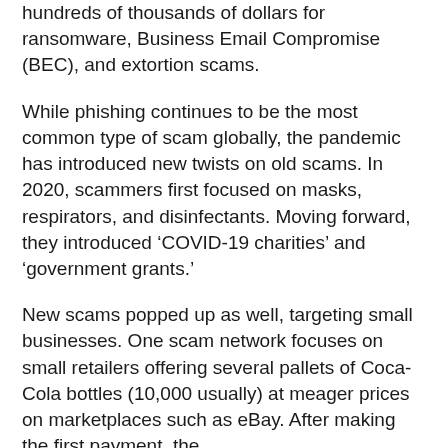hundreds of thousands of dollars for ransomware, Business Email Compromise (BEC), and extortion scams.
While phishing continues to be the most common type of scam globally, the pandemic has introduced new twists on old scams. In 2020, scammers first focused on masks, respirators, and disinfectants. Moving forward, they introduced ‘COVID-19 charities’ and ‘government grants.’
New scams popped up as well, targeting small businesses. One scam network focuses on small retailers offering several pallets of Coca-Cola bottles (10,000 usually) at meager prices on marketplaces such as eBay. After making the first payment, the bottles are never delivered, and the buyer loses